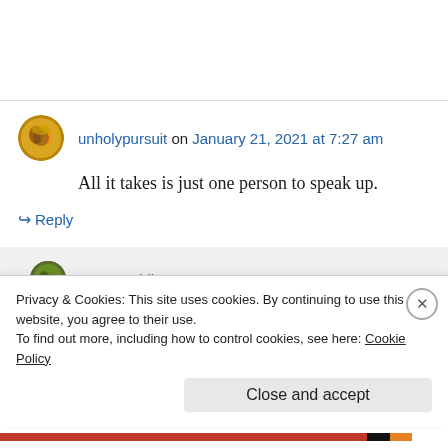unholypursuit on January 21, 2021 at 7:27 am
All it takes is just one person to speak up.
↪ Reply
Anna Waldherr on January 21, 2021 at 12:09
Privacy & Cookies: This site uses cookies. By continuing to use this website, you agree to their use. To find out more, including how to control cookies, see here: Cookie Policy
Close and accept